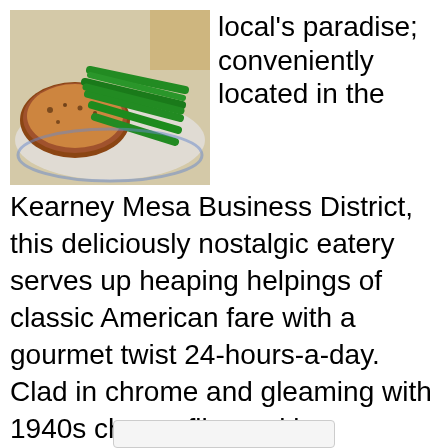[Figure (photo): Photo of a plate of food showing meat and green beans on a blue and white plate]
local's paradise; conveniently located in the Kearney Mesa Business District, this deliciously nostalgic eatery serves up heaping helpings of classic American fare with a gourmet twist 24-hours-a-day. Clad in chrome and gleaming with 1940s charm, film-making equipment graces the dining area and celebrates the restaurant's ongoing relationship with television. The only thing that can steal the spotlight from the Diner's cool décor is its impressively lengthy and satisfying menu. Breakfast, lunch, and dinner can be savored any time – from omelets to East Coast classics, the Diner aims to please. Menu favorites include the